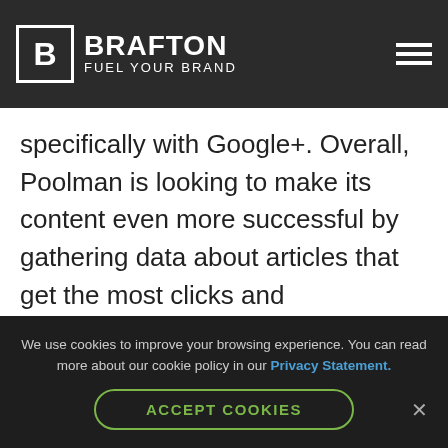BRAFTON FUEL YOUR BRAND
Vogely said Poolman's next goals are to [refine] its strategy and find ways to benefit from all the resources at its disposal, specifically with Google+. Overall, Poolman is looking to make its content even more successful by gathering data about articles that get the most clicks and conversions, and bringing those qualities to other pieces across the site for even stronger results.
We use cookies to improve your browsing experience. You can read more about our cookie policy in our Privacy Statement.
ACCEPT COOKIES